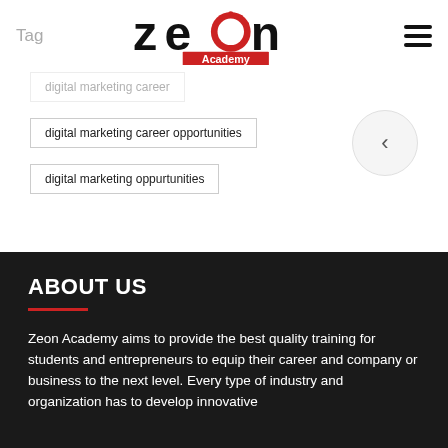Tag
[Figure (logo): Zeon Academy logo with stylized text and red circular element with dots]
digital marketing career
digital marketing career opportunities
digital marketing oppurtunities
ABOUT US
Zeon Academy aims to provide the best quality training for students and entrepreneurs to equip their career and company or business to the next level. Every type of industry and organization has to develop innovative